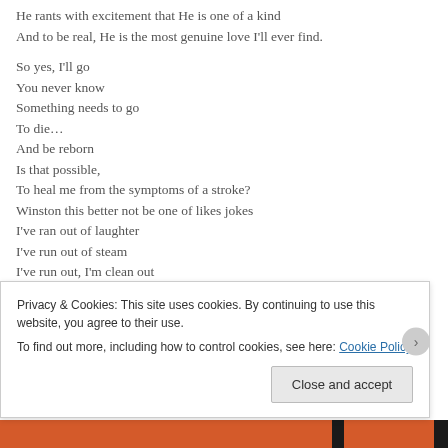He rants with excitement that He is one of a kind
And to be real, He is the most genuine love I'll ever find.

So yes, I'll go
You never know
Something needs to go
To die…
And be reborn
Is that possible,
To heal me from the symptoms of a stroke?
Winston this better not be one of likes jokes
I've ran out of laughter
I've run out of steam
I've run out, I'm clean out
I shout out…
SEE ME!
Privacy & Cookies: This site uses cookies. By continuing to use this website, you agree to their use.
To find out more, including how to control cookies, see here: Cookie Policy
Close and accept